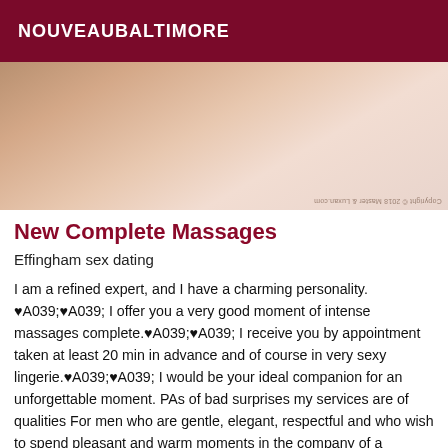NOUVEAUBALTIMORE
[Figure (photo): Close-up photo of bare feet/legs on white bedding, with a mirrored watermark text at bottom right reading 'Copyright © 2018 Master & Luxan.com']
New Complete Massages
Effingham sex dating
I am a refined expert, and I have a charming personality. ♥A039;♥A039; I offer you a very good moment of intense massages complete.♥A039;♥A039; I receive you by appointment taken at least 20 min in advance and of course in very sexy lingerie.♥A039;♥A039; I would be your ideal companion for an unforgettable moment. PAs of bad surprises my services are of qualities For men who are gentle, elegant, respectful and who wish to spend pleasant and warm moments in the company of a beautiful young woman. My priority is to make you spend a dream moment that you will not